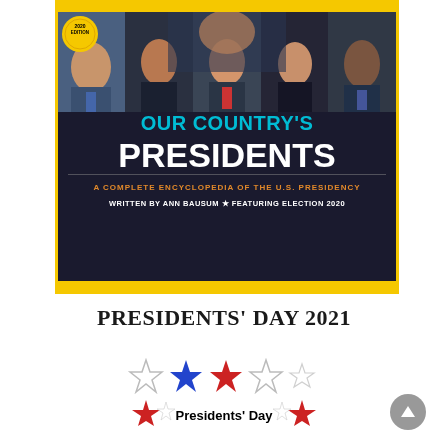[Figure (photo): Book cover of 'Our Country's Presidents: A Complete Encyclopedia of the U.S. Presidency' 2020 Edition, written by Ann Bausum, featuring photographs of five presidents (Biden, FDR, Reagan, Lincoln, Obama) on a dark background with yellow National Geographic border and large cyan/white title text.]
PRESIDENTS' DAY 2021
[Figure (illustration): Stars decoration with 'Presidents' Day' text — blue and red five-pointed stars arranged in two rows with the text 'Presidents' Day' flanked by red stars in the center.]